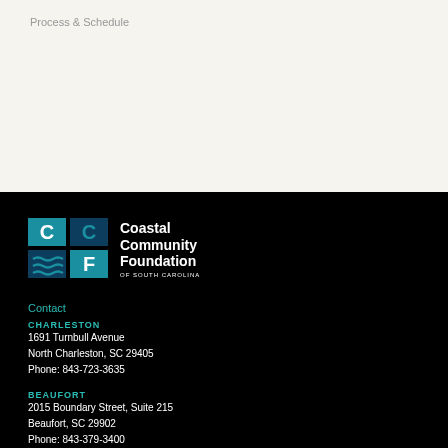Process & Schedule
[Figure (logo): Coastal Community Foundation of South Carolina logo with teal and dark blue CCF letter blocks and wave graphics]
Contact
CHARLESTON
1691 Turnbull Avenue
North Charleston, SC 29405
Phone: 843-723-3635
BEAUFORT
2015 Boundary Street, Suite 215
Beaufort, SC 29902
Phone: 843-379-3400